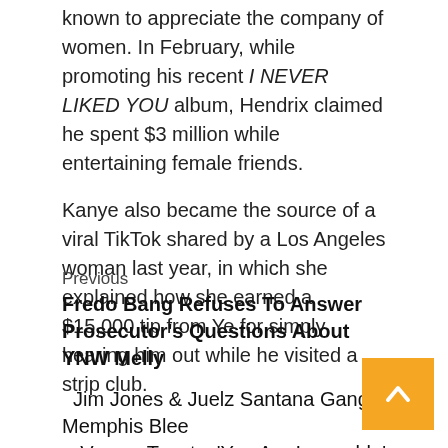known to appreciate the company of women. In February, while promoting his recent I NEVER LIKED YOU album, Hendrix claimed he spent $3 million while entertaining female friends.
Kanye also became the source of a viral TikTok shared by a Los Angeles woman last year, in which she explained how she earned a $15,000 tip from Ye for simply hearing him out while he visited a strip club.
Previous
Fredo Bang Refuses To Answer Prosecutor's Questions About YNW Melly
Jim Jones & Juelz Santana Gang Up On Memphis Blee... Verzuz Taunts: 'You Are Incapable'